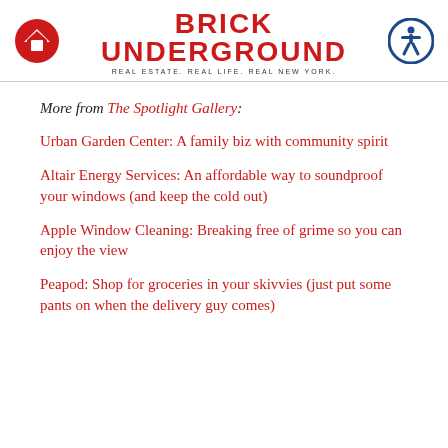BRICK UNDERGROUND — REAL ESTATE. REAL LIFE. REAL NEW YORK.
More from The Spotlight Gallery:
Urban Garden Center: A family biz with community spirit
Altair Energy Services: An affordable way to soundproof your windows (and keep the cold out)
Apple Window Cleaning: Breaking free of grime so you can enjoy the view
Peapod: Shop for groceries in your skivvies (just put some pants on when the delivery guy comes)